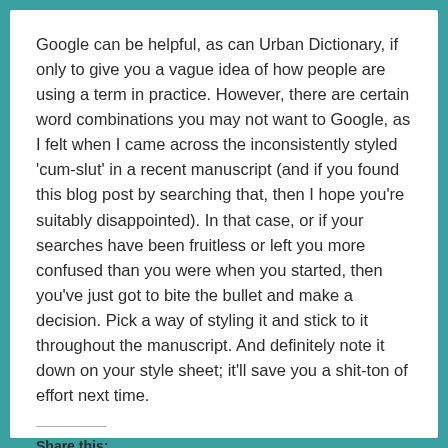Google can be helpful, as can Urban Dictionary, if only to give you a vague idea of how people are using a term in practice. However, there are certain word combinations you may not want to Google, as I felt when I came across the inconsistently styled 'cum-slut' in a recent manuscript (and if you found this blog post by searching that, then I hope you're suitably disappointed). In that case, or if your searches have been fruitless or left you more confused than you were when you started, then you've just got to bite the bullet and make a decision. Pick a way of styling it and stick to it throughout the manuscript. And definitely note it down on your style sheet; it'll save you a shit-ton of effort next time.
Share this: